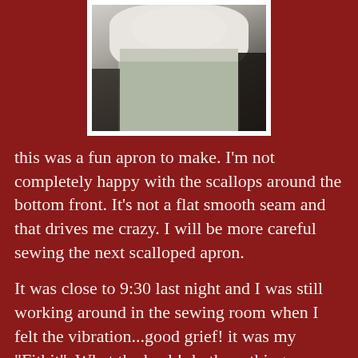[Figure (photo): A photo of a person wearing a white shirt and light green/grey pants, shown from chest down, displayed with white border frame on dark red background.]
this was a fun apron to make. I'm not completely happy with the scallops around the bottom front. It's not a flat smooth seam and that drives me crazy. I will be more careful sewing the next scalloped apron.
It was close to 9:30 last night and I was still working around in the sewing room when I felt the vibration...good grief! it was my "Fitbit". What the heck! do these things